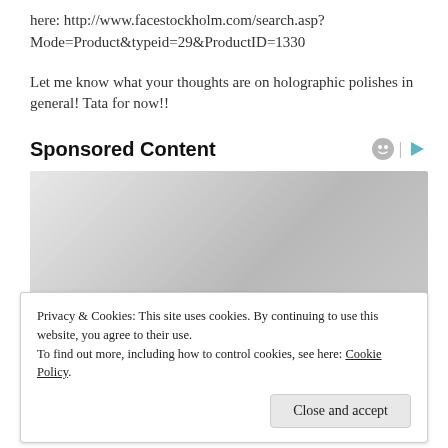here: http://www.facestockholm.com/search.asp?Mode=Product&typeid=29&ProductID=1330
Let me know what your thoughts are on holographic polishes in general! Tata for now!!
Sponsored Content
[Figure (other): Sponsored content advertisement placeholder with gradient gray background]
Privacy & Cookies: This site uses cookies. By continuing to use this website, you agree to their use.
To find out more, including how to control cookies, see here: Cookie Policy